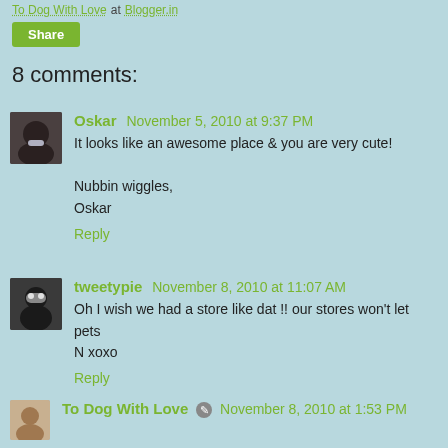To Dog With Love at Blogger.in
Share
8 comments:
Oskar November 5, 2010 at 9:37 PM
It looks like an awesome place & you are very cute!

Nubbin wiggles,
Oskar
Reply
tweetypie November 8, 2010 at 11:07 AM
Oh I wish we had a store like dat !! our stores won't let pets N xoxo
Reply
To Dog With Love November 8, 2010 at 1:53 PM